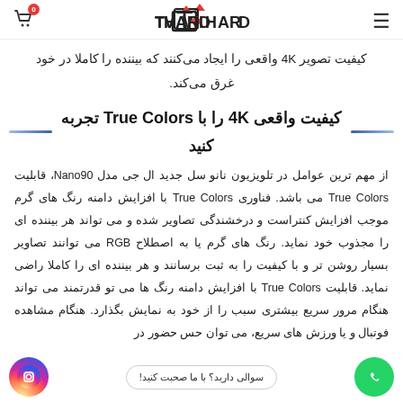TVKHARD logo with cart icon and hamburger menu
کیفیت تصویر 4K واقعی را ایجاد می‌کنند که بیننده را کاملا در خود غرق می‌کند.
کیفیت واقعی 4K را با True Colors تجربه کنید
از مهم ترین عوامل در تلویزیون نانو سل جدید ال جی مدل Nano90، قابلیت True Colors می باشد. فناوری True Colors با افزایش دامنه رنگ های گرم موجب افزایش کنتراست و درخشندگی تصاویر شده و می تواند هر بیننده ای را مجذوب خود نماید. رنگ های گرم یا به اصطلاح RGB می توانند تصاویر بسیار روشن تر و با کیفیت را به ثبت برسانند و هر بیننده ای را کاملا راضی نماید. قابلیت True Colors با افزایش دامنه رنگ ها می تواند قدرتمند می تواند هنگام مرور سریع بیشتری سبب را از خود به نمایش بگذارد. هنگام مشاهده فوتبال و یا ورزش های سریع، می توان حس حضور در